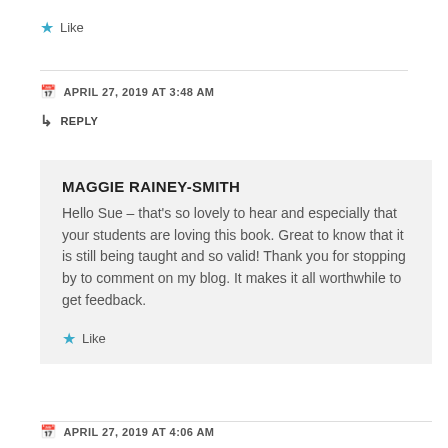★ Like
APRIL 27, 2019 AT 3:48 AM
↳ REPLY
MAGGIE RAINEY-SMITH
Hello Sue – that's so lovely to hear and especially that your students are loving this book. Great to know that it is still being taught and so valid! Thank you for stopping by to comment on my blog. It makes it all worthwhile to get feedback.
★ Like
APRIL 27, 2019 AT 4:06 AM